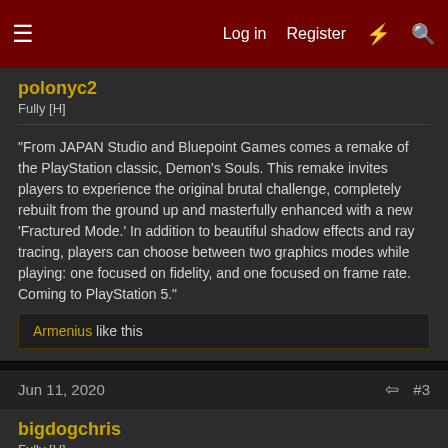Log in | Register | (lightning icon) | (search icon)
polonyc2
Fully [H]
"From JAPAN Studio and Bluepoint Games comes a remake of the PlayStation classic, Demon's Souls. This remake invites players to experience the original brutal challenge, completely rebuilt from the ground up and masterfully enhanced with a new 'Fractured Mode.' In addition to beautiful shadow effects and ray tracing, players can choose between two graphics modes while playing: one focused on fidelity, and one focused on frame rate. Coming to PlayStation 5."
Armenius like this
Jun 11, 2020
#3
bigdogchris
Fully [H]